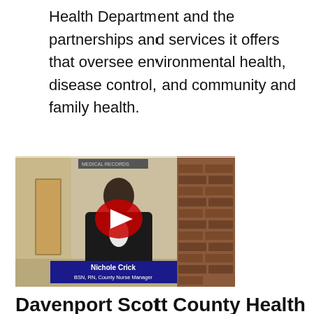Health Department and the partnerships and services it offers that oversee environmental health, disease control, and community and family health.
[Figure (screenshot): YouTube video thumbnail showing a woman (Nichole Crick, BSN, RN, County Nurse Manager) standing in a medical office hallway. A red YouTube play button is overlaid in the center. A lower-third chyron reads 'Nichole Crick / BSN, RN, County Nurse Manager'.]
Davenport Scott County Health Department Facebook